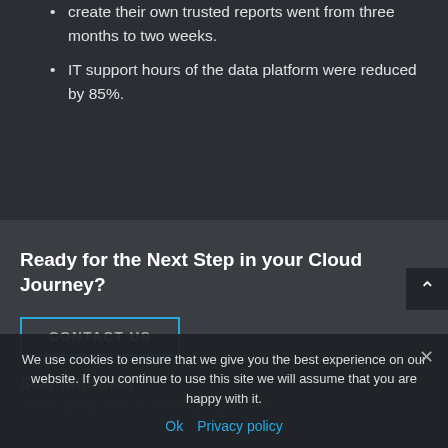create their own trusted reports went from three months to two weeks.
IT support hours of the data platform were reduced by 85%.
Ready for the Next Step in your Cloud Journey?
CONTACT US
Stay Informed
Subscribe to receive cloud tips and news
We use cookies to ensure that we give you the best experience on our website. If you continue to use this site we will assume that you are happy with it.
Ok  Privacy policy